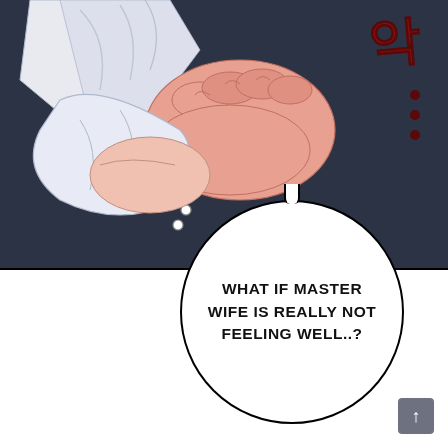[Figure (illustration): Manga panel showing two hands gripping each other tightly — one hand clutching white fabric/shirt sleeve. Set against a dark navy background. Korean sound effect character (악) in dark red/maroon at top right with three ellipsis dots below it.]
WHAT IF MASTER WIFE IS REALLY NOT FEELING WELL..?